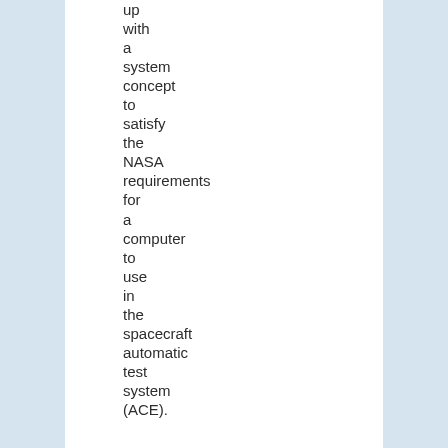up with a system concept to satisfy the NASA requirements for a computer to use in the spacecraft automatic test system (ACE).